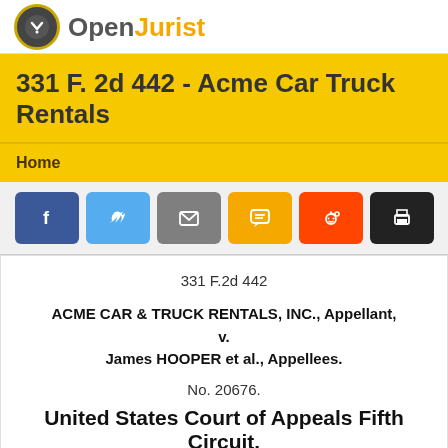OpenJurist
331 F. 2d 442 - Acme Car Truck Rentals
Home
[Figure (infographic): Social sharing buttons: Facebook, Twitter, Email, SMS, Reddit, Print]
331 F.2d 442
ACME CAR & TRUCK RENTALS, INC., Appellant, v. James HOOPER et al., Appellees.
No. 20676.
United States Court of Appeals Fifth Circuit.
May 6, 1964, Rehearing Denied July 17, 1964.